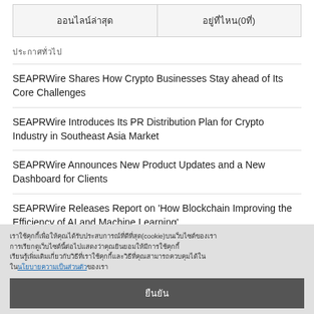| ออนไลน์ล่าสุด | อยู่ที่ไหน(0ที่) |
| --- | --- |
ประกาศทั่วไป
SEAPRWire Shares How Crypto Businesses Stay ahead of Its Core Challenges
SEAPRWire Introduces Its PR Distribution Plan for Crypto Industry in Southeast Asia Market
SEAPRWire Announces New Product Updates and a New Dashboard for Clients
SEAPRWire Releases Report on 'How Blockchain Improving the Efficiency of AI and Machine Learning'
The Most Expensive Physical Crypto Artworks
เราใช้คุกกี้เพื่อให้คุณได้รับประสบการณ์ที่ดีที่สุด(cookie)บนเว็บไซต์ของเรา การเรียกดูเว็บไซต์นี้ต่อไปแสดงว่าคุณยินยอมให้มีการใช้คุกกี้ เรียนรู้เพิ่มเติมเกี่ยวกับวิธีที่เราใช้คุกกี้และวิธีที่คุณสามารถควบคุมได้ใน นโยบายความเป็นส่วนตัว ของเรา
ยืนยัน